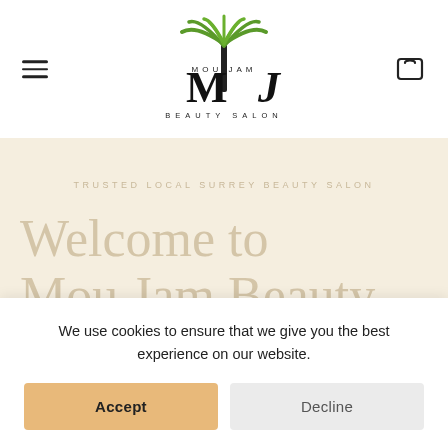[Figure (logo): Mou Jam Beauty Salon logo with palm tree graphic and stylized MJ lettering, text BEAUTY SALON below]
TRUSTED LOCAL SURREY BEAUTY SALON
Welcome to Mou Jam Beauty
We provide all your beauty needs, cosmetics...
We use cookies to ensure that we give you the best experience on our website.